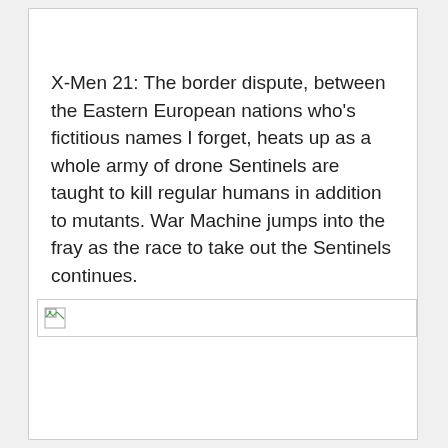X-Men 21: The border dispute, between the Eastern European nations who's fictitious names I forget, heats up as a whole army of drone Sentinels are taught to kill regular humans in addition to mutants. War Machine jumps into the fray as the race to take out the Sentinels continues.
[Figure (other): Broken/missing image placeholder with small image icon in top-left corner]